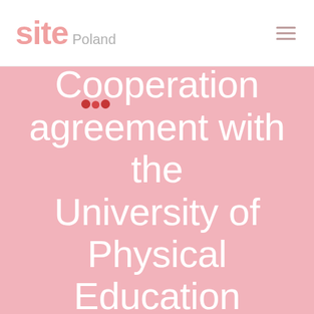site Poland
Cooperation agreement with the University of Physical Education